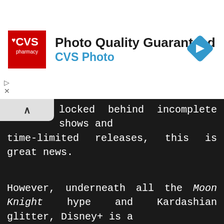[Figure (screenshot): CVS Pharmacy advertisement banner with red CVS logo, bold text 'Photo Quality Guaranteed' and blue text 'CVS Photo', and a blue navigation arrow diamond icon on the right]
locked behind incomplete shows and time-limited releases, this is great news.
However, underneath all the Moon Knight hype and Kardashian glitter, Disney+ is a